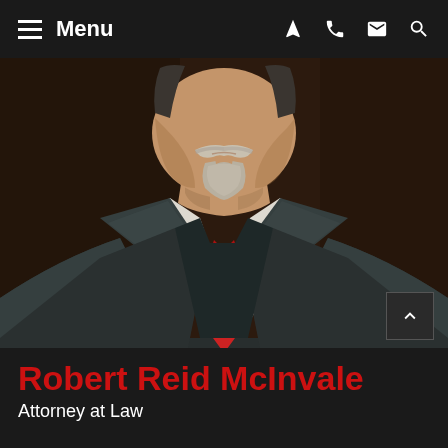Menu
[Figure (photo): Professional headshot of Robert Reid McInvale, an older male attorney with gray mustache and goatee, wearing a dark charcoal suit jacket, white dress shirt, and red paisley tie, photographed against a dark brown background.]
Robert Reid McInvale
Attorney at Law